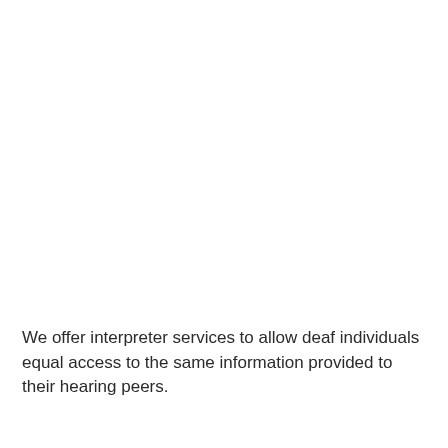We offer interpreter services to allow deaf individuals equal access to the same information provided to their hearing peers.